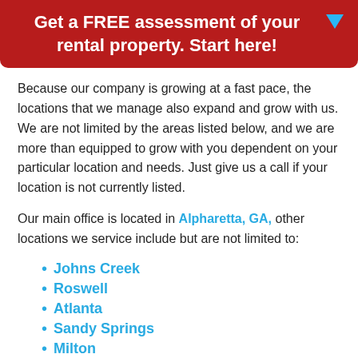Get a FREE assessment of your rental property. Start here!
Because our company is growing at a fast pace, the locations that we manage also expand and grow with us. We are not limited by the areas listed below, and we are more than equipped to grow with you dependent on your particular location and needs. Just give us a call if your location is not currently listed.
Our main office is located in Alpharetta, GA, other locations we service include but are not limited to:
Johns Creek
Roswell
Atlanta
Sandy Springs
Milton
Suwanee